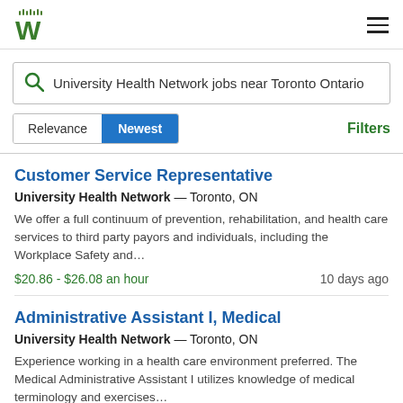W (Workopolis logo) with hamburger menu
University Health Network jobs near Toronto Ontario
Relevance | Newest | Filters
Customer Service Representative
University Health Network — Toronto, ON
We offer a full continuum of prevention, rehabilitation, and health care services to third party payors and individuals, including the Workplace Safety and…
$20.86 - $26.08 an hour   10 days ago
Administrative Assistant I, Medical
University Health Network — Toronto, ON
Experience working in a health care environment preferred. The Medical Administrative Assistant I utilizes knowledge of medical terminology and exercises…